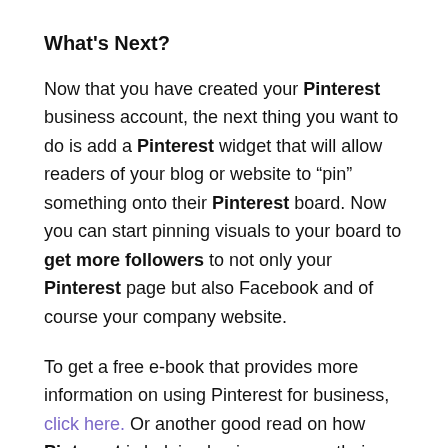What's Next?
Now that you have created your Pinterest business account, the next thing you want to do is add a Pinterest widget that will allow readers of your blog or website to "pin" something onto their Pinterest board. Now you can start pinning visuals to your board to get more followers to not only your Pinterest page but also Facebook and of course your company website.
To get a free e-book that provides more information on using Pinterest for business, click here. Or another good read on how Pinterest is helping businesses use their social media platform, check out this Forbes article.
People will want to repin your pins if you have compelling visuals of your products and offer content in fresh and